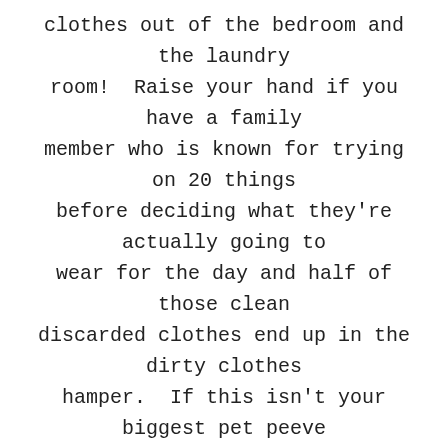clothes out of the bedroom and the laundry room!  Raise your hand if you have a family member who is known for trying on 20 things before deciding what they're actually going to wear for the day and half of those clean discarded clothes end up in the dirty clothes hamper.  If this isn't your biggest pet peeve you're a much nicer person than I am because it makes me absolutely insane.  When the kids were young...okay strike that, I have always had a cute clothes obsession er....addiction.  Because of my love of cute clothes at all stages, to keep the closets and drawers from overflowing we started putting off season clothes in totes into the storage room (or the